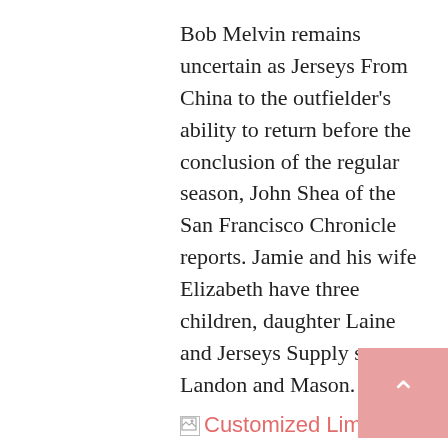Bob Melvin remains uncertain as Jerseys From China to the outfielder's ability to return before the conclusion of the regular season, John Shea of the San Francisco Chronicle reports. Jamie and his wife Elizabeth have three children, daughter Laine and Jerseys Supply sons Landon and Mason.
[Figure (other): Broken image placeholder with link text: Customized Limited Youth Black Home Jersey: Football Jacksonville Jaguars Vapor Untouchable]
Jimmy Garoppolo May Be Off The Dating Market Thanks To This Bottle Service Girl Jimmy G has had a hell of a glow up. CFP Selection Committee chairperson Rob Mullens addressed the discussion between the two programs during Tuesday's teleconference on the heels of the initial rankings release. And somewhere up above our good friend Michael Goldberg is very proud, said